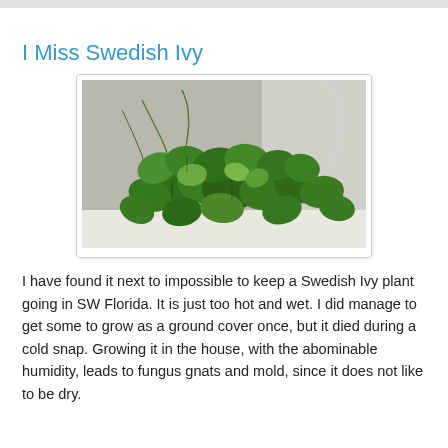I Miss Swedish Ivy
[Figure (photo): Photo of Swedish Ivy plant with lush green leaves growing in a white planter against a light wall background]
I have found it next to impossible to keep a Swedish Ivy plant going in SW Florida. It is just too hot and wet. I did manage to get some to grow as a ground cover once, but it died during a cold snap. Growing it in the house, with the abominable humidity, leads to fungus gnats and mold, since it does not like to be dry.